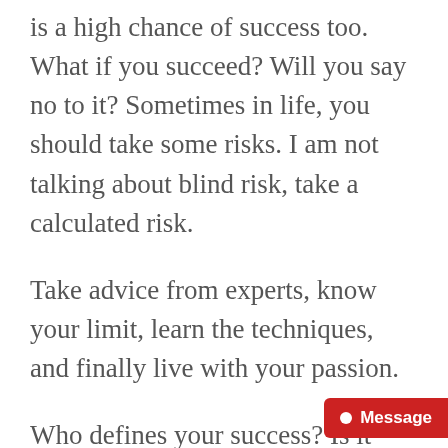is a high chance of success too. What if you succeed? Will you say no to it? Sometimes in life, you should take some risks. I am not talking about blind risk, take a calculated risk.
Take advice from experts, know your limit, learn the techniques, and finally live with your passion.
Who defines your success? Is it you or someone else?
The term success has much meaning may be getting their first custome